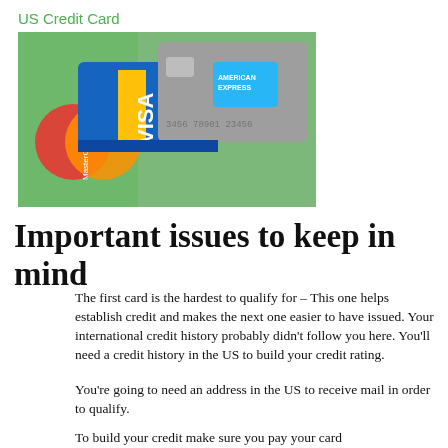US Credit Card
[Figure (photo): Close-up photo of multiple credit cards including MasterCard (red/orange), Visa (blue/white/yellow), and American Express (silver/blue) overlapping each other]
Important issues to keep in mind
The first card is the hardest to qualify for – This one helps establish credit and makes the next one easier to have issued.  Your international credit history probably didn't follow you here.  You'll need a credit history in the US to build your credit rating.
You're going to need an address in the US to receive mail in order to qualify.
To build your credit make sure you pay your card